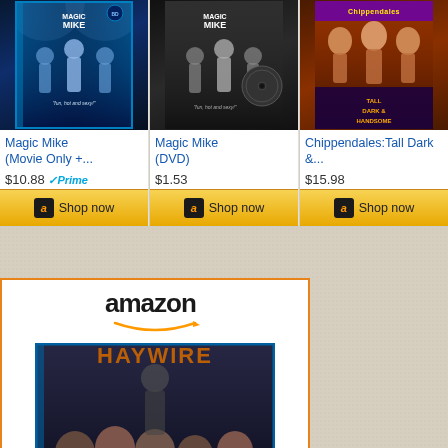[Figure (photo): Magic Mike Blu-ray movie cover with men on dark stage]
Magic Mike (Movie Only +...
$10.88 Prime
[Figure (photo): Magic Mike DVD cover with men on dark stage]
Magic Mike (DVD)
$1.53
[Figure (photo): Chippendales: Tall Dark & ... movie cover with men]
Chippendales:Tall Dark &...
$15.98
amazon
[Figure (photo): Haywire Blu-ray cover with dark action movie imagery]
Haywire (Blu-ray + Digital Copy)
$13.17